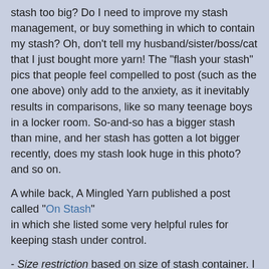stash too big? Do I need to improve my stash management, or buy something in which to contain my stash? Oh, don't tell my husband/sister/boss/cat that I just bought more yarn! The "flash your stash" pics that people feel compelled to post (such as the one above) only add to the anxiety, as it inevitably results in comparisons, like so many teenage boys in a locker room. So-and-so has a bigger stash than mine, and her stash has gotten a lot bigger recently, does my stash look huge in this photo? and so on.
A while back, A Mingled Yarn published a post called "On Stash" in which she listed some very helpful rules for keeping stash under control.
- Size restriction based on size of stash container. I can only now implement this, due the previously unorganized and uncontained nature of my yarn stash.
- Regularly prune stash. I have been heavily pruning (which in librarianship we call "weeding" - what is it with the gardening metaphors?) by giving away yarns that I have